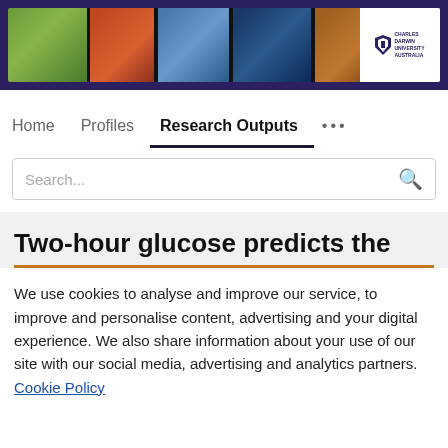[Figure (photo): Charles Darwin University header banner with multiple photo segments showing people in various research and academic settings, with CDU logo on the right]
Home  Profiles  Research Outputs  ...
Search...
Two-hour glucose predicts the
We use cookies to analyse and improve our service, to improve and personalise content, advertising and your digital experience. We also share information about your use of our site with our social media, advertising and analytics partners.  Cookie Policy